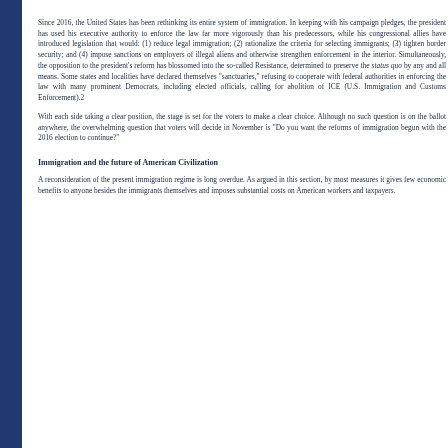Since 2016, the United States has been rethinking its entire system of immigration. In keeping with his campaign pledges, the president has used his executive authority to enforce the law far more vigorously than his predecessors, while his congressional allies have introduced legislation that would: (1) reduce legal immigration; (2) rationalize the criteria for selecting immigrants; (3) tighten border security; and (4) impose sanctions on employers of illegal aliens and otherwise strengthen enforcement in the interior. Simultaneously, the opposition to the president's reform has blossomed into the so-called Resistance, determined to preserve the status quo by any and all means. Some states and localities have declared themselves "sanctuaries," refusing to cooperate with federal authorities in enforcing the law with many prominent Democrats, including elected officials, calling for abolition of ICE (U.S. Immigration and Customs Enforcement).2
With each side taking a clear position, the stage is set for the voters to make a clear choice. Although no such question is on the ballot anywhere, the overwhelming question that voters will decide in November is "Do you want the reforms of immigration begun with the 2016 election to continue?"
Immigration and the future of American Civilization
A reconsideration of the present immigration regime is long overdue. As argued in this section, by most measures it gives few economic benefits to anyone besides the immigrants themselves and imposes substantial costs on American workers and taxpayers.